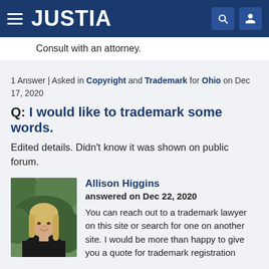JUSTIA
Consult with an attorney.
1 Answer | Asked in Copyright and Trademark for Ohio on Dec 17, 2020
Q: I would like to trademark some words.
Edited details. Didn't know it was shown on public forum.
Allison Higgins
answered on Dec 22, 2020
You can reach out to a trademark lawyer on this site or search for one on another site. I would be more than happy to give you a quote for trademark registration